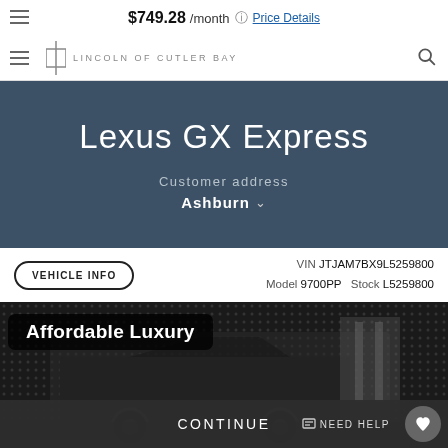$749.28 /month  Price Details
LINCOLN OF CUTLER BAY
Lexus GX Express
Customer address
Ashburn
VEHICLE INFO   VIN JTJAM7BX9L5259800  Model 9700PP  Stock L5259800
[Figure (photo): Affordable Luxury banner with dark Lexus GX SUV in a dealership lot]
CONTINUE
NEED HELP